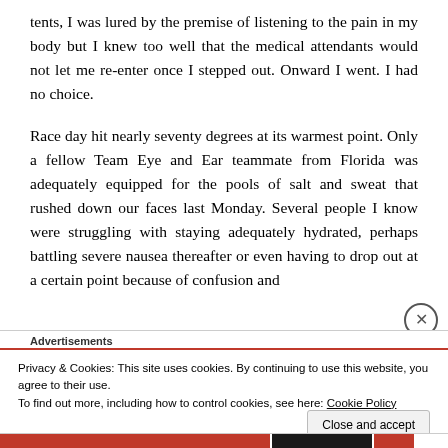tents, I was lured by the premise of listening to the pain in my body but I knew too well that the medical attendants would not let me re-enter once I stepped out. Onward I went. I had no choice.
Race day hit nearly seventy degrees at its warmest point. Only a fellow Team Eye and Ear teammate from Florida was adequately equipped for the pools of salt and sweat that rushed down our faces last Monday. Several people I know were struggling with staying adequately hydrated, perhaps battling severe nausea thereafter or even having to drop out at a certain point because of confusion and
Advertisements
Privacy & Cookies: This site uses cookies. By continuing to use this website, you agree to their use.
To find out more, including how to control cookies, see here: Cookie Policy
Close and accept